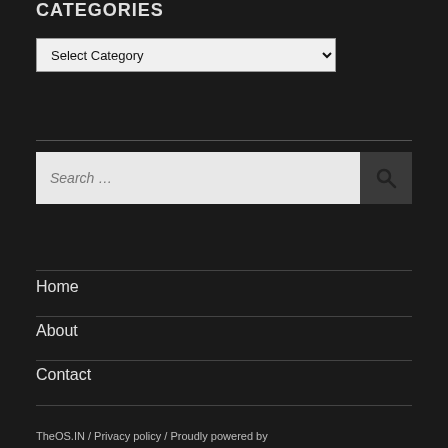CATEGORIES
Select Category
Search …
Home
About
Contact
TheOS.IN / Privacy policy / Proudly powered by